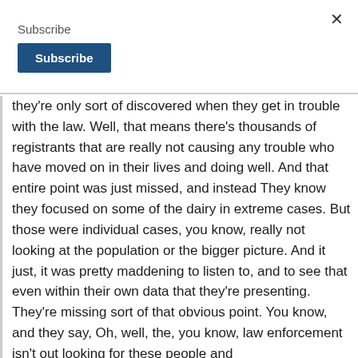Subscribe
they're only sort of discovered when they get in trouble with the law. Well, that means there's thousands of registrants that are really not causing any trouble who have moved on in their lives and doing well. And that entire point was just missed, and instead They know they focused on some of the dairy in extreme cases. But those were individual cases, you know, really not looking at the population or the bigger picture. And it just, it was pretty maddening to listen to, and to see that even within their own data that they're presenting. They're missing sort of that obvious point. You know, and they say, Oh, well, the, you know, law enforcement isn't out looking for these people and